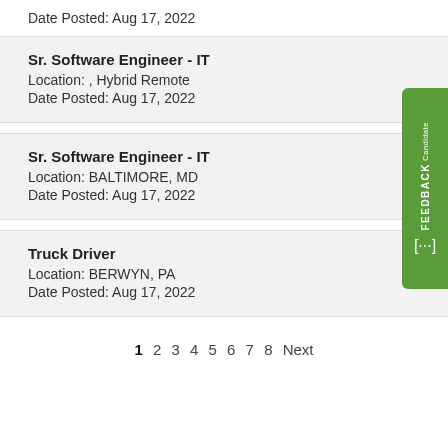Date Posted: Aug 17, 2022
Sr. Software Engineer - IT
Location: , Hybrid Remote
Date Posted: Aug 17, 2022
Sr. Software Engineer - IT
Location: BALTIMORE, MD
Date Posted: Aug 17, 2022
Truck Driver
Location: BERWYN, PA
Date Posted: Aug 17, 2022
1 2 3 4 5 6 7 8 Next